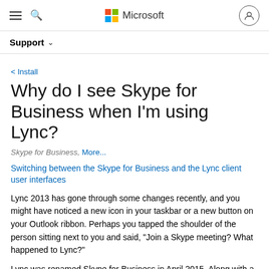Microsoft Support
< Install
Why do I see Skype for Business when I'm using Lync?
Skype for Business, More...
Switching between the Skype for Business and the Lync client user interfaces
Lync 2013 has gone through some changes recently, and you might have noticed a new icon in your taskbar or a new button on your Outlook ribbon. Perhaps you tapped the shoulder of the person sitting next to you and said, "Join a Skype meeting? What happened to Lync?"
Lync was renamed Skype for Business in April 2015. Along with a new name came some new features and a fresh new look. It's